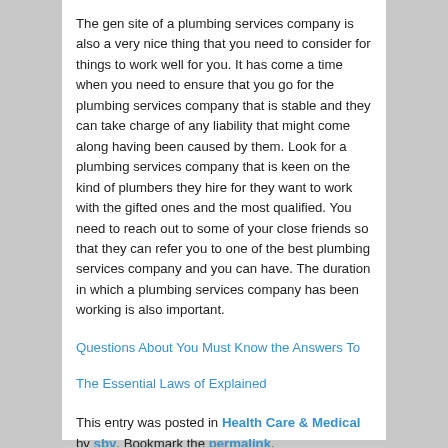The gen site of a plumbing services company is also a very nice thing that you need to consider for things to work well for you. It has come a time when you need to ensure that you go for the plumbing services company that is stable and they can take charge of any liability that might come along having been caused by them. Look for a plumbing services company that is keen on the kind of plumbers they hire for they want to work with the gifted ones and the most qualified. You need to reach out to some of your close friends so that they can refer you to one of the best plumbing services company and you can have. The duration in which a plumbing services company has been working is also important.
Questions About You Must Know the Answers To
The Essential Laws of Explained
This entry was posted in Health Care & Medical by sby. Bookmark the permalink.